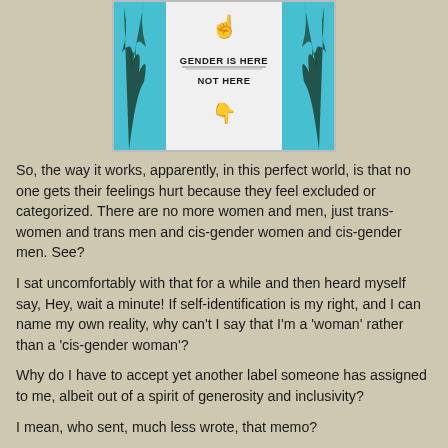[Figure (illustration): A t-shirt graphic showing hands pointing up and down with text 'GENDER IS HERE' (pointing up toward head/brain) and 'NOT HERE' (pointing down toward body/genitals), with blue and black illustrated trees/figures on the sides.]
So, the way it works, apparently, in this perfect world, is that no one gets their feelings hurt because they feel excluded or categorized.  There are no more women and men, just trans-women and trans men and cis-gender women and cis-gender men.  See?
I sat uncomfortably with that for a while and then heard myself say, Hey, wait a minute! If self-identification is my right, and I can name my own reality, why can't I say that I'm a 'woman' rather than a 'cis-gender woman'?
Why do I have to accept yet another label someone has assigned to me, albeit out of a spirit of generosity and inclusivity?
I mean, who sent, much less wrote, that memo?